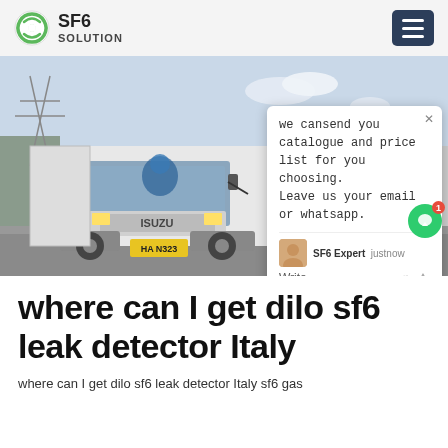SF6 SOLUTION
[Figure (photo): A white ISUZU truck parked near a facility gate with Chinese signage. A chat popup overlay is visible with text: 'we can send you catalogue and price list for you choosing. Leave us your email or whatsapp.' Attributed to SF6 Expert, just now.]
where can I get dilo sf6 leak detector Italy
where can I get dilo sf6 leak detector Italy sf6 gas